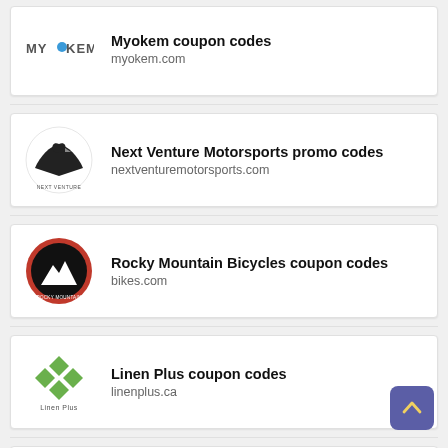Myokem coupon codes
myokem.com
Next Venture Motorsports promo codes
nextventuremotorsports.com
Rocky Mountain Bicycles coupon codes
bikes.com
Linen Plus coupon codes
linenplus.ca
Southern Homemadeables discount codes
www.southernhomemadeables.com